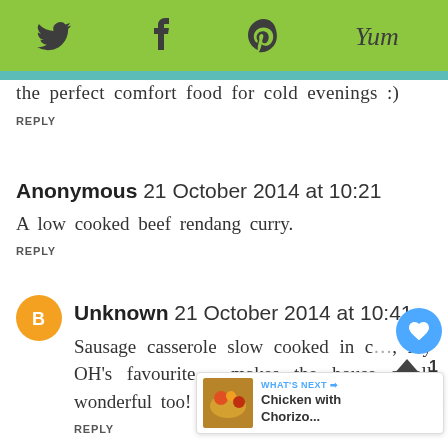[Social share bar with Twitter, Facebook, Pinterest, Yummly icons]
the perfect comfort food for cold evenings :)
REPLY
Anonymous 21 October 2014 at 10:21
A low cooked beef rendang curry.
REPLY
Unknown 21 October 2014 at 10:41
Sausage casserole slow cooked in c…, my OH's favourite - makes the house smell wonderful too!
REPLY